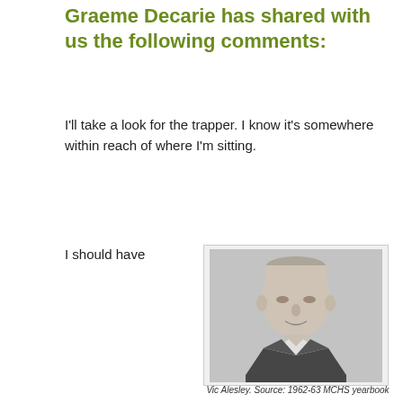Graeme Decarie has shared with us the following comments:
I'll take a look for the trapper. I know it's somewhere within reach of where I'm sitting.
I should have
[Figure (photo): Black and white yearbook portrait photo of Vic Alesley, a middle-aged man in a suit, smiling slightly.]
Vic Alesley. Source: 1962-63 MCHS yearbook